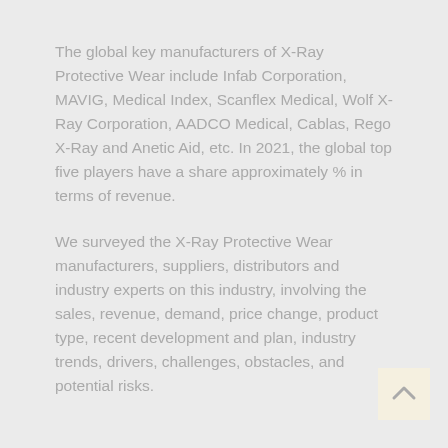The global key manufacturers of X-Ray Protective Wear include Infab Corporation, MAVIG, Medical Index, Scanflex Medical, Wolf X-Ray Corporation, AADCO Medical, Cablas, Rego X-Ray and Anetic Aid, etc. In 2021, the global top five players have a share approximately % in terms of revenue.
We surveyed the X-Ray Protective Wear manufacturers, suppliers, distributors and industry experts on this industry, involving the sales, revenue, demand, price change, product type, recent development and plan, industry trends, drivers, challenges, obstacles, and potential risks.